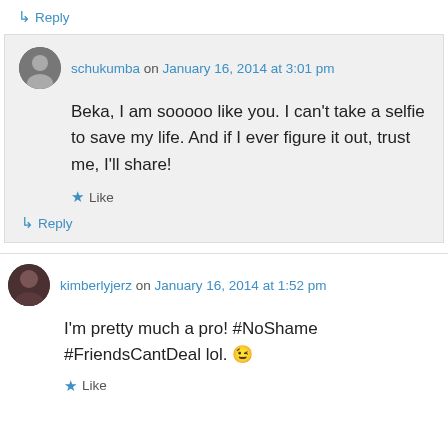↳ Reply
schukumba on January 16, 2014 at 3:01 pm
Beka, I am sooooo like you. I can't take a selfie to save my life. And if I ever figure it out, trust me, I'll share!
★ Like
↳ Reply
kimberlyjerz on January 16, 2014 at 1:52 pm
I'm pretty much a pro! #NoShame #FriendsCantDeal lol. 😉
★ Like